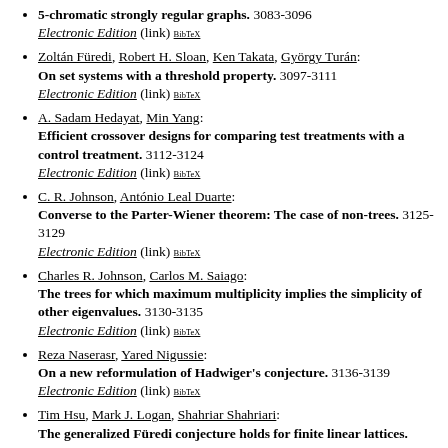5-chromatic strongly regular graphs. 3083-3096 Electronic Edition (link) BibTeX
Zoltán Füredi, Robert H. Sloan, Ken Takata, György Turán: On set systems with a threshold property. 3097-3111 Electronic Edition (link) BibTeX
A. Sadam Hedayat, Min Yang: Efficient crossover designs for comparing test treatments with a control treatment. 3112-3124 Electronic Edition (link) BibTeX
C. R. Johnson, António Leal Duarte: Converse to the Parter-Wiener theorem: The case of non-trees. 3125-3129 Electronic Edition (link) BibTeX
Charles R. Johnson, Carlos M. Saiago: The trees for which maximum multiplicity implies the simplicity of other eigenvalues. 3130-3135 Electronic Edition (link) BibTeX
Reza Naserasr, Yared Nigussie: On a new reformulation of Hadwiger's conjecture. 3136-3139 Electronic Edition (link) BibTeX
Tim Hsu, Mark J. Logan, Shahriar Shahriari: The generalized Füredi conjecture holds for finite linear lattices. 3140-3144 Electronic Edition (link) BibTeX